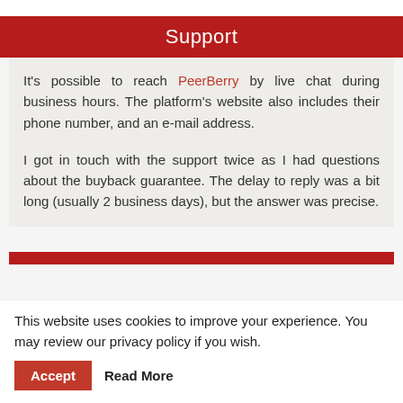Support
It's possible to reach PeerBerry by live chat during business hours. The platform's website also includes their phone number, and an e-mail address.
I got in touch with the support twice as I had questions about the buyback guarantee. The delay to reply was a bit long (usually 2 business days), but the answer was precise.
This website uses cookies to improve your experience. You may review our privacy policy if you wish.